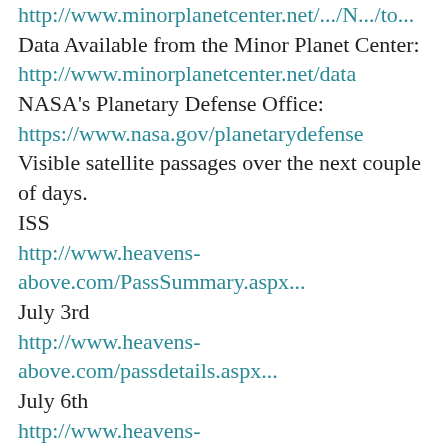http://www.minorplanetcenter.net/.../N.../to...
Data Available from the Minor Planet Center:
http://www.minorplanetcenter.net/data
NASA's Planetary Defense Office:
https://www.nasa.gov/planetarydefense
Visible satellite passages over the next couple of days.
ISS
http://www.heavens-above.com/PassSummary.aspx...
July 3rd
http://www.heavens-above.com/passdetails.aspx...
July 6th
http://www.heavens-above.com/passdetails...